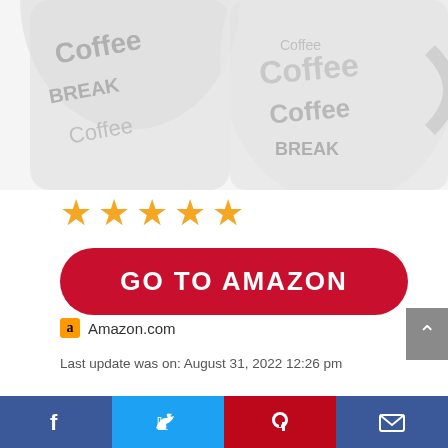[Figure (photo): Coffee mugs with 'Coffee BREAK' text pattern, partially cropped at top of page]
[Figure (other): Five gold/orange star rating icons]
GO TO AMAZON
Amazon.com
Last update was on: August 31, 2022 12:26 pm
Service of 4 with four mugs and four spoons
[Figure (other): Social media share bar with Facebook, Twitter, Pinterest, and Email icons]